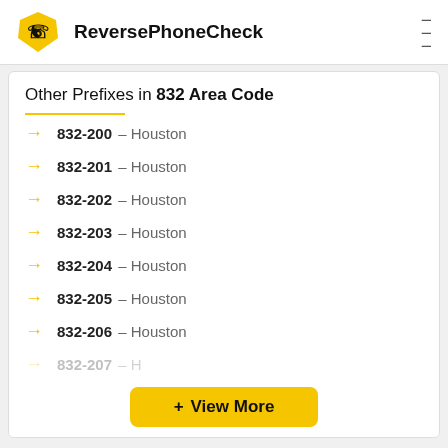ReversePhoneCheck
Other Prefixes in 832 Area Code
832-200 – Houston
832-201 – Houston
832-202 – Houston
832-203 – Houston
832-204 – Houston
832-205 – Houston
832-206 – Houston
832-207 – H...
+ View More